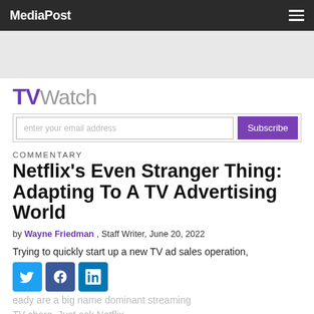MediaPost
[Figure (other): Gray advertisement banner placeholder]
TV Watch
enter your email address | Subscribe
COMMENTARY
Netflix's Even Stranger Thing: Adapting To A TV Advertising World
by Wayne Friedman , Staff Writer, June 20, 2022
Trying to quickly start up a new TV ad sales operation, ...already are a big name dominant streaming TV...will be a chore. Just ask Netflix.